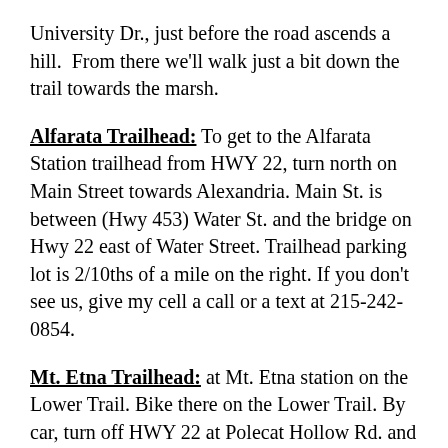University Dr., just before the road ascends a hill.  From there we'll walk just a bit down the trail towards the marsh.
Alfarata Trailhead: To get to the Alfarata Station trailhead from HWY 22, turn north on Main Street towards Alexandria. Main St. is between (Hwy 453) Water St. and the bridge on Hwy 22 east of Water Street. Trailhead parking lot is 2/10ths of a mile on the right. If you don't see us, give my cell a call or a text at 215-242-0854.
Mt. Etna Trailhead: at Mt. Etna station on the Lower Trail. Bike there on the Lower Trail. By car, turn off HWY 22 at Polecat Hollow Rd. and head east to Fox Run Rd and turn left. Look for Mt. Etna parking lot on your right.
Bells Gap Trail: Take Bellwood Exit 41 off of I-99. Follow PA-865 for 2.7 miles to Igou Road which will be on your right.  Go 1/10 mile on Igou Road.  Turn left into Bells Gap trailhead parking lot.